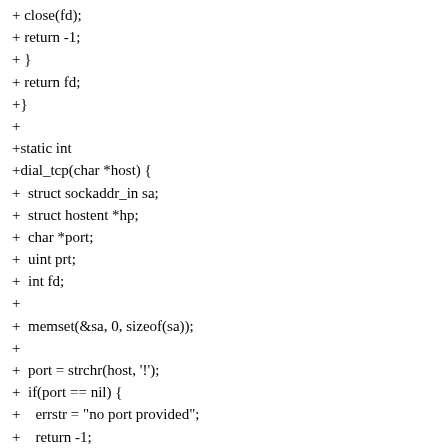+ close(fd);
+ return -1;
+ }
+ return fd;
+}
+
+static int
+dial_tcp(char *host) {
+  struct sockaddr_in sa;
+  struct hostent *hp;
+  char *port;
+  uint prt;
+  int fd;
+
+  memset(&sa, 0, sizeof(sa));
+
+  port = strchr(host, '!');
+  if(port == nil) {
+    errstr = "no port provided";
+    return -1;
+  }
+  *port++ = '\0';
+
+  if(sscanf(port, "%u", &prt) != 1)
+  return -1;